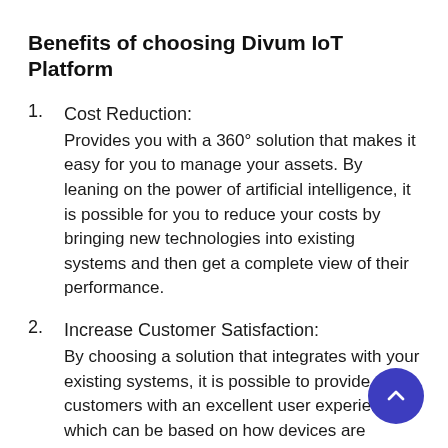Benefits of choosing Divum IoT Platform
Cost Reduction: Provides you with a 360° solution that makes it easy for you to manage your assets. By leaning on the power of artificial intelligence, it is possible for you to reduce your costs by bringing new technologies into existing systems and then get a complete view of their performance.
Increase Customer Satisfaction: By choosing a solution that integrates with your existing systems, it is possible to provide your customers with an excellent user experience, which can be based on how devices are performing so that they can make informed decisions and act quickly when